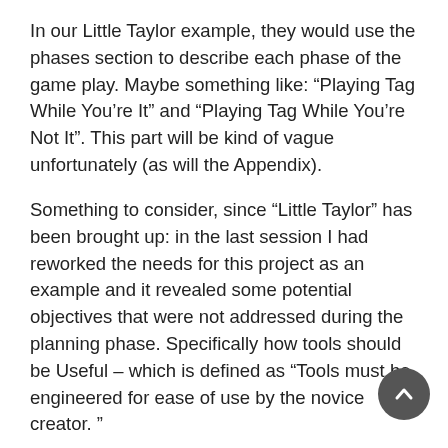In our Little Taylor example, they would use the phases section to describe each phase of the game play. Maybe something like: “Playing Tag While You’re It” and “Playing Tag While You’re Not It”. This part will be kind of vague unfortunately (as will the Appendix).
Something to consider, since “Little Taylor” has been brought up: in the last session I had reworked the needs for this project as an example and it revealed some potential objectives that were not addressed during the planning phase. Specifically how tools should be Useful – which is defined as “Tools must be engineered for ease of use by the novice creator. ”
The NOVICE creator. I need to define this. Cryptiquest doesn’t tackle the breadth of global diversity until the “Access” portion of the Road Map but I think I’ve discovered a glaring gap between the company objectives and the company values. There was, at one point, a project slated to revisit the compass statements once the objectives were